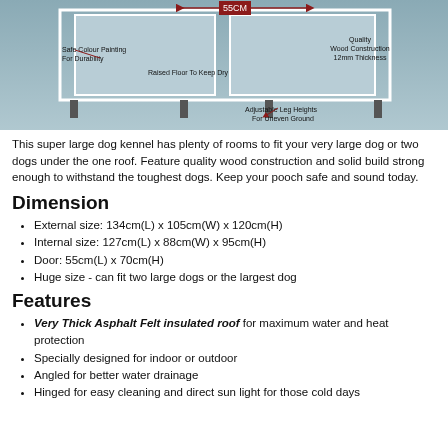[Figure (photo): Dog kennel product photo with annotated labels: Safe Colour Painting For Durability, Raised Floor To Keep Dry, 55CM measurement arrow, Adjustable Leg Heights For Uneven Ground, Quality Wood Construction 12mm Thickness]
This super large dog kennel has plenty of rooms to fit your very large dog or two dogs under the one roof. Feature quality wood construction and solid build strong enough to withstand the toughest dogs. Keep your pooch safe and sound today.
Dimension
External size: 134cm(L) x 105cm(W) x 120cm(H)
Internal size: 127cm(L) x 88cm(W) x 95cm(H)
Door: 55cm(L) x 70cm(H)
Huge size - can fit two large dogs or the largest dog
Features
Very Thick Asphalt Felt insulated roof for maximum water and heat protection
Specially designed for indoor or outdoor
Angled for better water drainage
Hinged for easy cleaning and direct sun light for those cold days